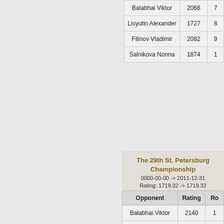| Opponent | Rating | Ro... |
| --- | --- | --- |
| Balabhai Viktor | 2066 | 7... |
| Lisyutin Alexander | 1727 | 8... |
| Filinov Vladimir | 2082 | 9... |
| Salnikova Nonna | 1874 | 1... |
The 29th St. Petersburg Championship
0000-00-00 -> 2011-12-31
Rating: 1719.32 -> 1719.32
| Opponent | Rating | Ro... |
| --- | --- | --- |
| Balabhai Viktor | 2140 | 1 |
| Salnikova Nonna | 1867 | 2 |
| Rumyantseva Ekaterina | 1644 | 3 |
| Kachaeva Ilona | 1556 | 4 |
| Zelentsov Alexander | 1805 | 5 |
| Kachaev Denis | 2000 | 6 |
| Filinov Vladimir | 2115 | 7 |